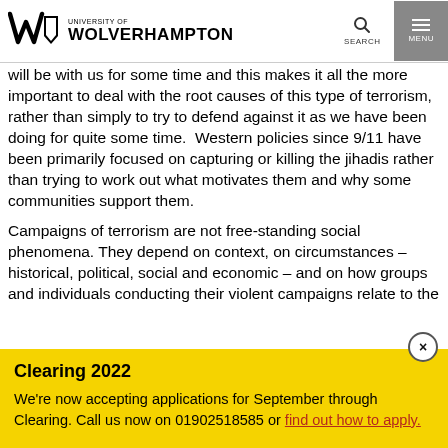University of Wolverhampton
will be with us for some time and this makes it all the more important to deal with the root causes of this type of terrorism, rather than simply to try to defend against it as we have been doing for quite some time.  Western policies since 9/11 have been primarily focused on capturing or killing the jihadis rather than trying to work out what motivates them and why some communities support them.
Campaigns of terrorism are not free-standing social phenomena. They depend on context, on circumstances – historical, political, social and economic – and on how groups and individuals conducting their violent campaigns relate to the
Clearing 2022
We're now accepting applications for September through Clearing. Call us now on 01902518585 or find out how to apply.